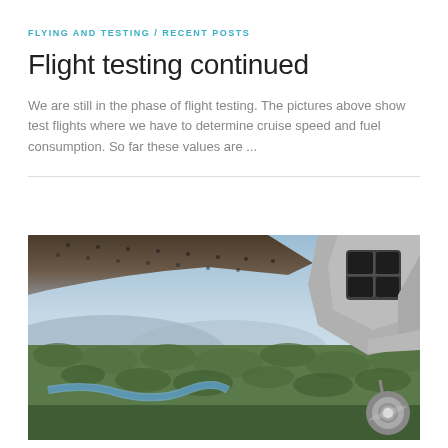FLYING AND TESTING / RECENT POSTS
Flight testing continued
We are still in the phase of flight testing. The pictures above show test flights where we have to determine cruise speed and fuel consumption. So far these values are ...
[Figure (photo): Aerial photograph taken from a small aircraft showing the wing and tail section of the plane, with a forested landscape, river, and mountains visible below under hazy sky conditions.]